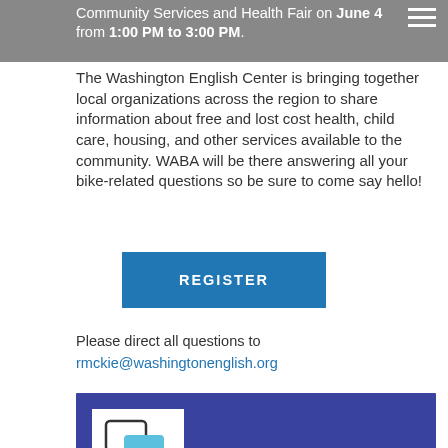Community Services and Health Fair on June 4 from 1:00 PM to 3:00 PM.
The Washington English Center is bringing together local organizations across the region to share information about free and lost cost health, child care, housing, and other services available to the community. WABA will be there answering all your bike-related questions so be sure to come say hello!
REGISTER
Please direct all questions to rmckie@washingtonenglish.org
[Figure (infographic): Community Services and Health Fair promotional banner with dark blue/purple background, Washington English Center logo (white box with speech bubble icon in teal), and large yellow bold text reading 'COMMUNITY SERVICES AND HEALTH FAIR']